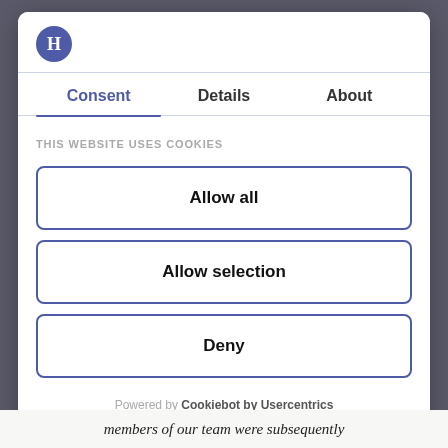[Figure (logo): Round purple circle with white letter H — Cookiebot logo]
Consent	Details	About
THIS WEBSITE USES COOKIES
Allow all
Allow selection
Deny
Powered by Cookiebot by Usercentrics
members of our team were subsequently